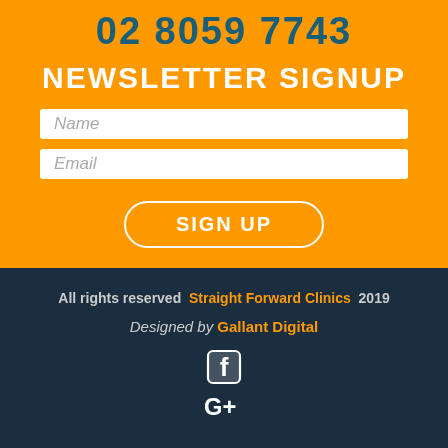02 8059 7743
NEWSLETTER SIGNUP
Name
Email
SIGN UP
All rights reserved Straight Forward Clinics 2019
Designed by Gallant Digital
[Figure (illustration): Facebook and Google Plus social media icons in white on dark navy background]